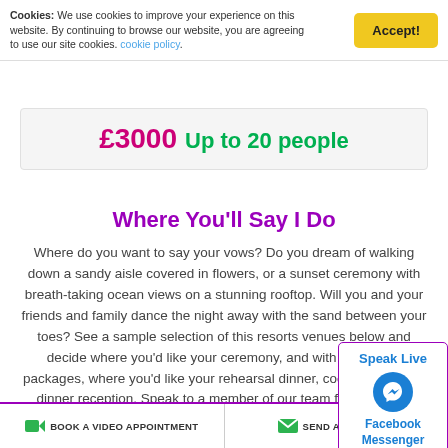Cookies: We use cookies to improve your experience on this website. By continuing to browse our website, you are agreeing to use our site cookies. cookie policy.
£3000 Up to 20 people
Where You'll Say I Do
Where do you want to say your vows? Do you dream of walking down a sandy aisle covered in flowers, or a sunset ceremony with breath-taking ocean views on a stunning rooftop. Will you and your friends and family dance the night away with the sand between your toes? See a sample selection of this resorts venues below and decide where you'd like your ceremony, and with applicable packages, where you'd like your rehearsal dinner, cocktail hour and dinner reception. Speak to a member of our team for additional venue options.
Speak Live
Facebook Messenger
BOOK A VIDEO APPOINTMENT   SEND AN ENQUIRY